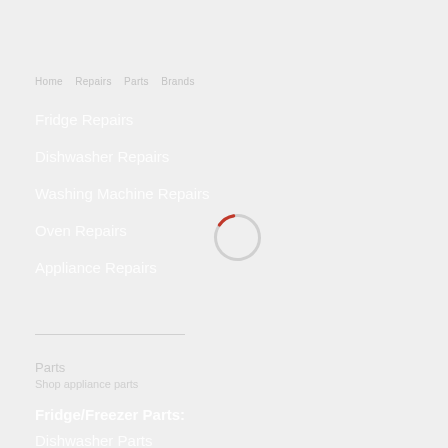Fridge Repairs
Dishwasher Repairs
Washing Machine Repairs
Oven Repairs
Appliance Repairs
[Figure (other): Loading spinner — a partial circle outline, mostly light gray with a red arc at the bottom-right, indicating a loading/busy state.]
Fridge/Freezer Parts:
Dishwasher Parts